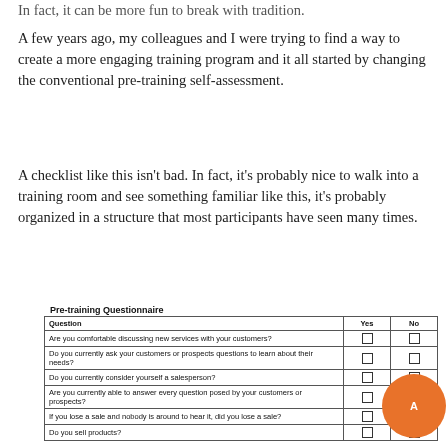In fact, it can be more fun to break with tradition.
A few years ago, my colleagues and I were trying to find a way to create a more engaging training program and it all started by changing the conventional pre-training self-assessment.
A checklist like this isn't bad. In fact, it's probably nice to walk into a training room and see something familiar like this, it's probably organized in a structure that most participants have seen many times.
Pre-training Questionnaire
| Question | Yes | No |
| --- | --- | --- |
| Are you comfortable discussing new services with your customers? | ☐ | ☐ |
| Do you currently ask your customers or prospects questions to learn about their needs? | ☐ | ☐ |
| Do you currently consider yourself a salesperson? | ☐ | ☐ |
| Are you currently able to answer every question posed by your customers or prospects? | ☐ | ☐ |
| If you lose a sale and nobody is around to hear it, did you lose a sale? | ☐ | ☐ |
| Do you sell products? | ☐ | ☐ |